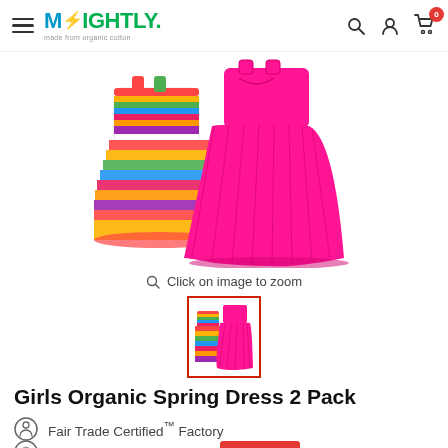Mightly – made from organic cotton
[Figure (photo): Two girls dresses: a colorful rainbow striped dress and a pink pleated skirt/dress, overlapping each other on white background]
Click on image to zoom
[Figure (photo): Thumbnail of the two dresses (rainbow striped and pink pleated) with a red border indicating selected state]
Girls Organic Spring Dress 2 Pack
Fair Trade Certified™ Factory
Made with Organic Cotton  Save 20%